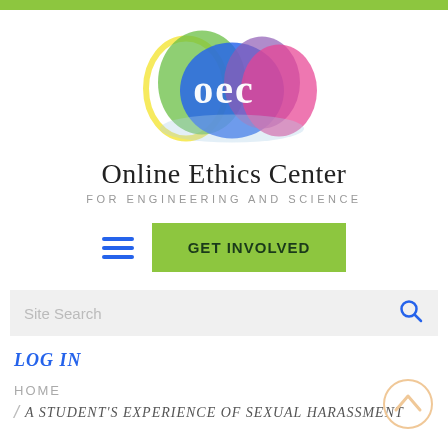[Figure (logo): OEC logo with overlapping colored circles (yellow, green, blue, purple, pink/magenta) and white 'oec' text in the center]
Online Ethics Center
FOR ENGINEERING AND SCIENCE
[Figure (infographic): Navigation row with blue hamburger menu icon and green 'GET INVOLVED' button]
Site Search
LOG IN
HOME
A STUDENT'S EXPERIENCE OF SEXUAL HARASSMENT